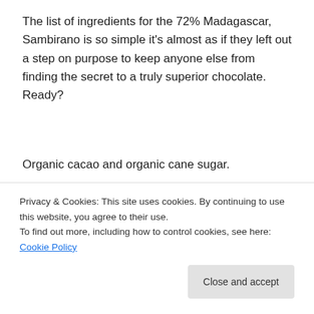The list of ingredients for the 72% Madagascar, Sambirano is so simple it's almost as if they left out a step on purpose to keep anyone else from finding the secret to a truly superior chocolate. Ready?
Organic cacao and organic cane sugar.
[Figure (photo): Photo of DT Craft Chocolate packaging — a white card/wrapper with crossed oars, a pelican bird, and letters D and T with 'Craft Chocolate' text, against a dark background with white fabric bags.]
Privacy & Cookies: This site uses cookies. By continuing to use this website, you agree to their use. To find out more, including how to control cookies, see here: Cookie Policy